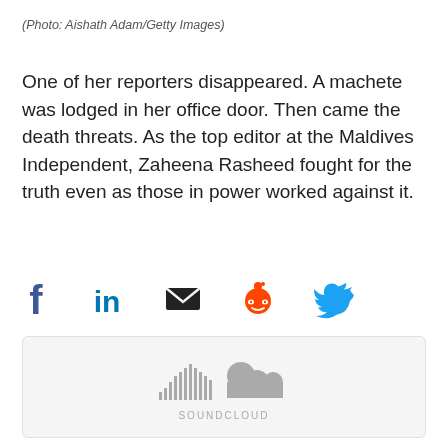(Photo: Aishath Adam/Getty Images)
One of her reporters disappeared. A machete was lodged in her office door. Then came the death threats. As the top editor at the Maldives Independent, Zaheena Rasheed fought for the truth even as those in power worked against it.
[Figure (infographic): Social share icons: Facebook (blue f), LinkedIn (blue 'in'), Email (black envelope), Reddit (orange alien logo), Twitter (blue bird)]
[Figure (infographic): SoundCloud embedded player placeholder showing SoundCloud logo (waveform bars and cloud icon in gray) with SOUNDCLOUD text below, on a light gray background with rounded border]